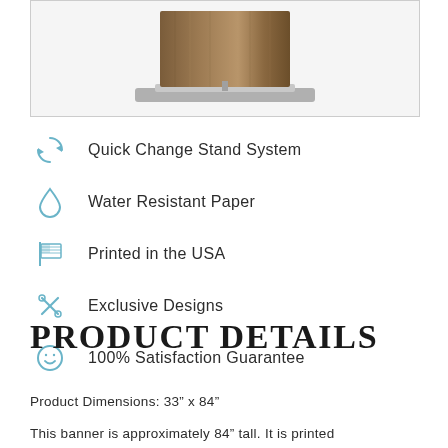[Figure (photo): Product photo of a banner stand with a brown/wood-grain banner displayed on a metal base]
Quick Change Stand System
Water Resistant Paper
Printed in the USA
Exclusive Designs
100% Satisfaction Guarantee
PRODUCT DETAILS
Product Dimensions: 33" x 84"
This banner is approximately 84" tall. It is printed